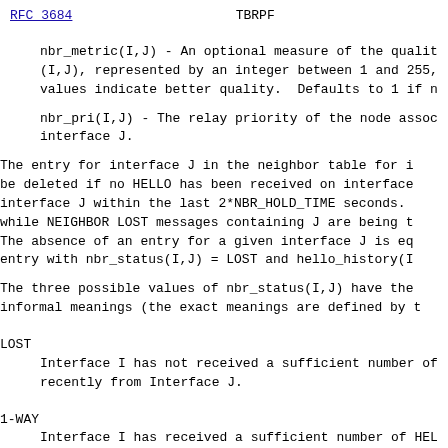RFC 3684                          TBRPF
nbr_metric(I,J) - An optional measure of the quality of the link (I,J), represented by an integer between 1 and 255, where higher values indicate better quality.  Defaults to 1 if not specified.
nbr_pri(I,J) - The relay priority of the node associated with interface J.
The entry for interface J in the neighbor table for interface I should be deleted if no HELLO has been received on interface I from interface J within the last 2*NBR_HOLD_TIME seconds. It may persist while NEIGHBOR LOST messages containing J are being transmitted. The absence of an entry for a given interface J is equivalent to an entry with nbr_status(I,J) = LOST and hello_history(I,J) = all zeros.
The three possible values of nbr_status(I,J) have the following informal meanings (the exact meanings are defined by the protocol):
LOST
    Interface I has not received a sufficient number of HELLOs recently from Interface J.
1-WAY
    Interface I has received a sufficient number of HELLOs recently from Interface J, but the link is not 2-WAY.
2-WAY